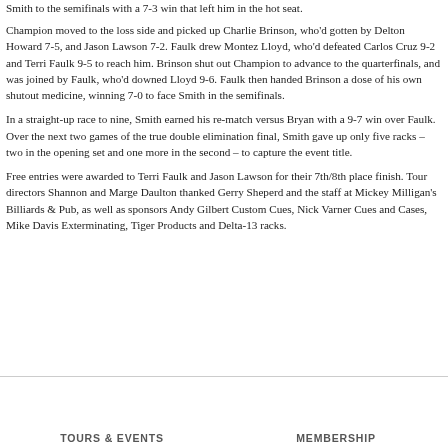Smith to the semifinals with a 7-3 win that left him in the hot seat.
Champion moved to the loss side and picked up Charlie Brinson, who'd gotten by Delton Howard 7-5, and Jason Lawson 7-2. Faulk drew Montez Lloyd, who'd defeated Carlos Cruz 9-2 and Terri Faulk 9-5 to reach him. Brinson shut out Champion to advance to the quarterfinals, and was joined by Faulk, who'd downed Lloyd 9-6. Faulk then handed Brinson a dose of his own shutout medicine, winning 7-0 to face Smith in the semifinals.
In a straight-up race to nine, Smith earned his re-match versus Bryan with a 9-7 win over Faulk. Over the next two games of the true double elimination final, Smith gave up only five racks – two in the opening set and one more in the second – to capture the event title.
Free entries were awarded to Terri Faulk and Jason Lawson for their 7th/8th place finish. Tour directors Shannon and Marge Daulton thanked Gerry Sheperd and the staff at Mickey Milligan's Billiards & Pub, as well as sponsors Andy Gilbert Custom Cues, Nick Varner Cues and Cases, Mike Davis Exterminating, Tiger Products and Delta-13 racks.
TOURS & EVENTS   MEMBERSHIP